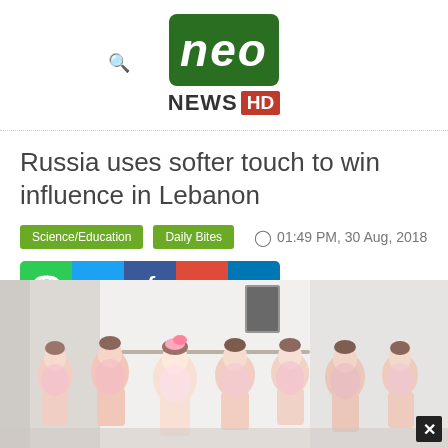[Figure (logo): Neo News HD logo — green rounded rectangle with italic white 'neo' text, below it 'NEWS' in dark bold and 'HD' in red box]
Russia uses softer touch to win influence in Lebanon
Science/Education  Daily Bites  01:49 PM, 30 Aug, 2018
[Figure (infographic): Social share buttons bar: WhatsApp (green), Twitter (blue), Facebook (dark blue), Google+ (red), LinkedIn (blue)]
[Figure (photo): Group of young girls in pink ballet leotards posing together in a dance studio]